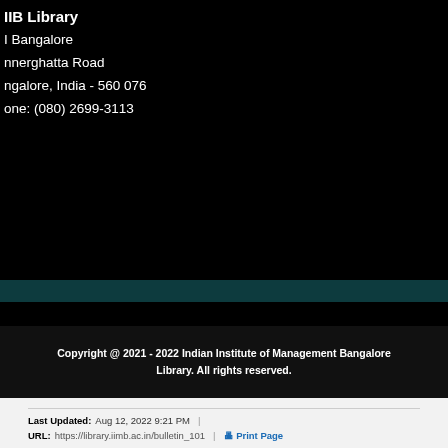IIMB Library
IIM Bangalore
Bannerghatta Road
Bangalore, India - 560 076
Phone: (080) 2699-3113
Copyright @ 2021 - 2022 Indian Institute of Management Bangalore Library. All rights reserved.
Last Updated: Aug 12, 2022 9:21 PM | URL: https://library.iimb.ac.in/bulletin_101 | Print Page